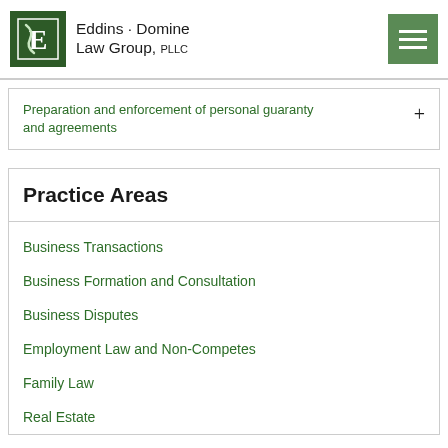Eddins · Domine Law Group, PLLC
Preparation and enforcement of personal guaranty and agreements
Practice Areas
Business Transactions
Business Formation and Consultation
Business Disputes
Employment Law and Non-Competes
Family Law
Real Estate